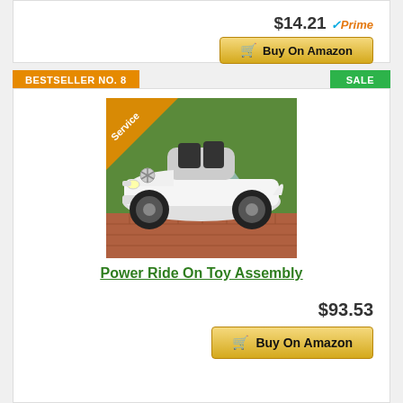$14.21 Prime
Buy On Amazon
BESTSELLER NO. 8
SALE
[Figure (photo): White Mercedes-Benz toy ride-on car with Service ribbon, parked on brick surface in front of green hedge background]
Power Ride On Toy Assembly
$93.53
Buy On Amazon